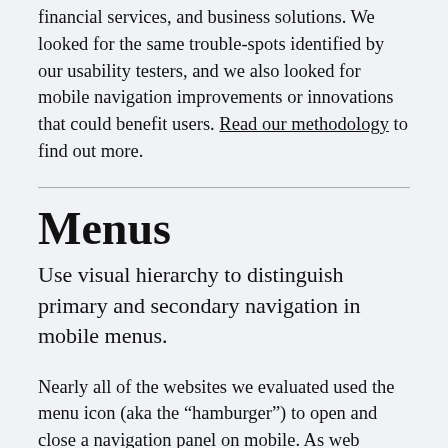financial services, and business solutions. We looked for the same trouble-spots identified by our usability testers, and we also looked for mobile navigation improvements or innovations that could benefit users. Read our methodology to find out more.
Menus
Use visual hierarchy to distinguish primary and secondary navigation in mobile menus.
Nearly all of the websites we evaluated used the menu icon (aka the “hamburger”) to open and close a navigation panel on mobile. As web professionals, we’re very familiar with this interface, and it turned out that our 16- to 19-year-old usability testers were